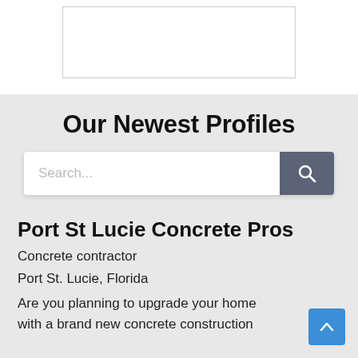[Figure (other): White rectangle placeholder image with border at top of page]
Our Newest Profiles
[Figure (other): Search bar with text input placeholder 'Search...' and a dark grey search button with magnifying glass icon]
Port St Lucie Concrete Pros
Concrete contractor
Port St. Lucie, Florida
Are you planning to upgrade your home with a brand new concrete construction